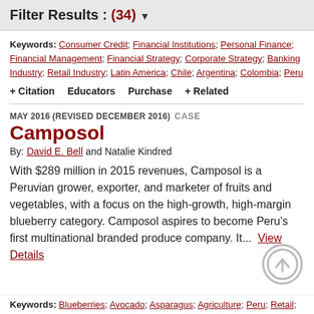Filter Results : (34)
Keywords: Consumer Credit; Financial Institutions; Personal Finance; Financial Management; Financial Strategy; Corporate Strategy; Banking Industry; Retail Industry; Latin America; Chile; Argentina; Colombia; Peru
+ Citation   Educators   Purchase   + Related
MAY 2016 (REVISED DECEMBER 2016)   CASE
Camposol
By: David E. Bell and Natalie Kindred
With $289 million in 2015 revenues, Camposol is a Peruvian grower, exporter, and marketer of fruits and vegetables, with a focus on the high-growth, high-margin blueberry category. Camposol aspires to become Peru’s first multinational branded produce company. It...  View Details
Keywords: Blueberries; Avocado; Asparagus; Agriculture; Peru; Retail;